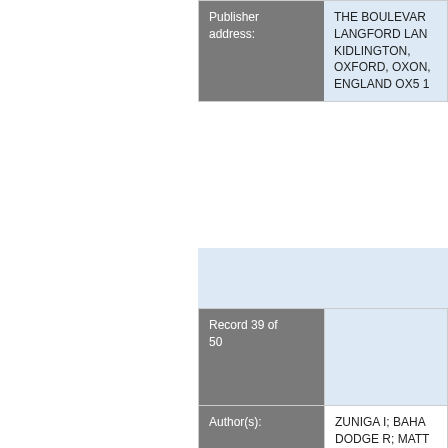| Field | Value |
| --- | --- |
| Publisher address: | THE BOULEVARD, LANGFORD LANE, KIDLINGTON, OXFORD, OXON, ENGLAND OX5 1 |
| Field | Value |
| --- | --- |
| Record 39 of 50 |  |
| Author(s): | ZUNIGA I; BAHAR; DODGE R; MATT |
| Title: | MOLECULAR-DY ANALYSIS OF TRANSITIONS BE ROTATIONAL ISO POLYMETHYLENE |
| Source: | JOURNAL OF CH PHYSICS 1991, V pp. 5348-5354 |